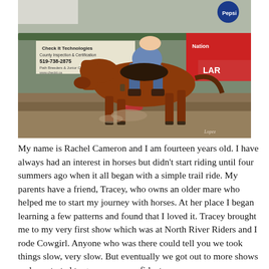[Figure (photo): A young rider on a chestnut horse competing in barrel racing at an indoor arena. The horse is galloping around a barrel kicking up dirt. Sponsor banners are visible in the background including 'Check It Technologies' with phone number 519-738-2875. The arena has metal fencing and bleachers. Photo credit appears to read 'Lopez' or similar in lower right corner.]
My name is Rachel Cameron and I am fourteen years old. I have always had an interest in horses but didn't start riding until four summers ago when it all began with a simple trail ride. My parents have a friend, Tracey, who owns an older mare who helped me to start my journey with horses. At her place I began learning a few patterns and found that I loved it. Tracey brought me to my very first show which was at North River Riders and I rode Cowgirl. Anyone who was there could tell you we took things slow, very slow. But eventually we got out to more shows and we started to grow more confident as a